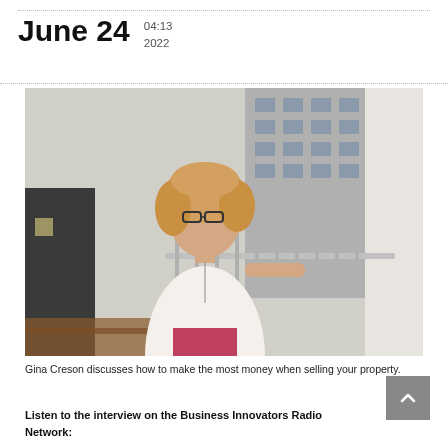June 24  04:13  2022
[Figure (photo): A middle-aged blonde woman with glasses wearing a white lace top and pink pants, standing on a balcony or walkway with a metal railing and a building visible in the background.]
Gina Creson discusses how to make the most money when selling your property.
Listen to the interview on the Business Innovators Radio Network: